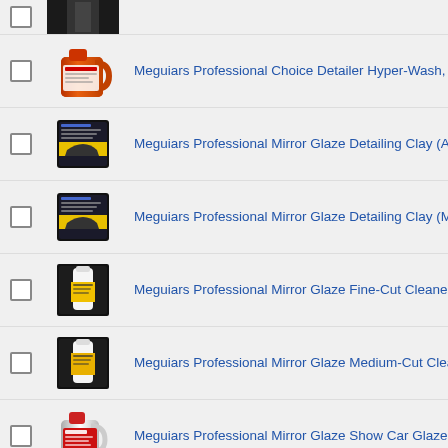(partial row at top - truncated product)
Meguiars Professional Choice Detailer Hyper-Wash, D110,
Meguiars Professional Mirror Glaze Detailing Clay (Agress
Meguiars Professional Mirror Glaze Detailing Clay (Mild),
Meguiars Professional Mirror Glaze Fine-Cut Cleaner, M02
Meguiars Professional Mirror Glaze Medium-Cut Cleaner, M
Meguiars Professional Mirror Glaze Show Car Glaze, M07,
Meguiars Professional Use Detailer, Shampoo Plus, D111,
(partial row at bottom - truncated product)